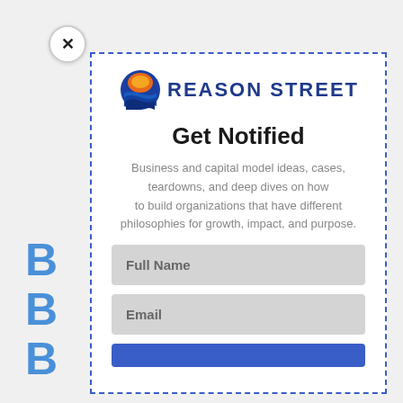[Figure (screenshot): Modal popup for 'Reason Street' newsletter signup with logo, title 'Get Notified', descriptive text, Full Name and Email input fields, and a submit button. A close (X) button appears at the top-left corner of the modal. The modal has a dashed blue border. Background shows partial webpage content with blue letters and bullet points.]
Get Notified
Business and capital model ideas, cases, teardowns, and deep dives on how to build organizations that have different philosophies for growth, impact, and purpose.